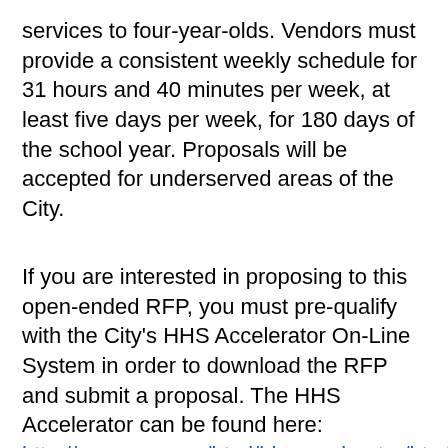services to four-year-olds. Vendors must provide a consistent weekly schedule for 31 hours and 40 minutes per week, at least five days per week, for 180 days of the school year. Proposals will be accepted for underserved areas of the City.
If you are interested in proposing to this open-ended RFP, you must pre-qualify with the City's HHS Accelerator On-Line System in order to download the RFP and submit a proposal. The HHS Accelerator can be found here: http://www.nyc.gov/html/hhsaccelerator/html/abou
If you have issues pre-qualifying with the HHS Accelerator System, please use the following link to reach the HHS Accelerator support team.